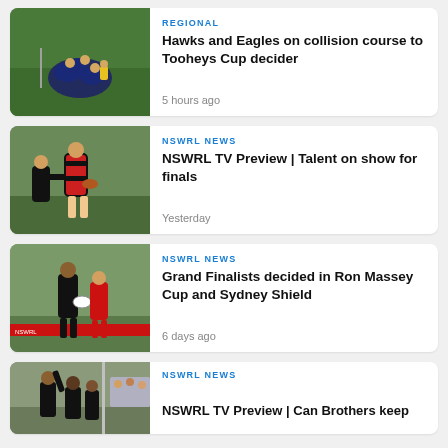[Figure (photo): Rugby league players in blue jerseys in a tackle/ruck situation on a green field]
REGIONAL
Hawks and Eagles on collision course to Tooheys Cup decider
5 hours ago
[Figure (photo): Rugby league player in red and black jersey carrying ball, being tackled]
NSWRL NEWS
NSWRL TV Preview | Talent on show for finals
Yesterday
[Figure (photo): Rugby league players in black and red jerseys competing, one carrying white ball]
NSWRL NEWS
Grand Finalists decided in Ron Massey Cup and Sydney Shield
6 days ago
[Figure (photo): Rugby league players celebrating, crowd in background]
NSWRL NEWS
NSWRL TV Preview | Can Brothers keep